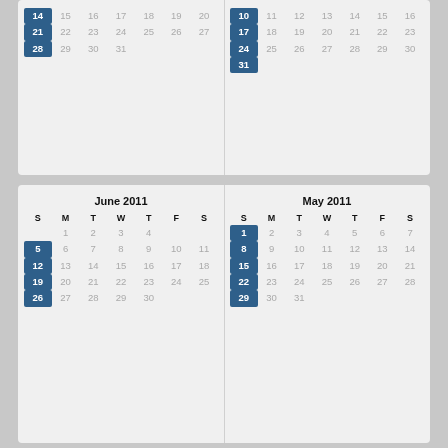| S | M | T | W | T | F | S |
| --- | --- | --- | --- | --- | --- | --- |
| 14 | 15 | 16 | 17 | 18 | 19 | 20 |
| 21 | 22 | 23 | 24 | 25 | 26 | 27 |
| 28 | 29 | 30 | 31 |  |  |  |
| S | M | T | W | T | F | S |
| --- | --- | --- | --- | --- | --- | --- |
| 10 | 11 | 12 | 13 | 14 | 15 | 16 |
| 17 | 18 | 19 | 20 | 21 | 22 | 23 |
| 24 | 25 | 26 | 27 | 28 | 29 | 30 |
| 31 |  |  |  |  |  |  |
June 2011
| S | M | T | W | T | F | S |
| --- | --- | --- | --- | --- | --- | --- |
|  | 1 | 2 | 3 | 4 |  |  |
| 5 | 6 | 7 | 8 | 9 | 10 | 11 |
| 12 | 13 | 14 | 15 | 16 | 17 | 18 |
| 19 | 20 | 21 | 22 | 23 | 24 | 25 |
| 26 | 27 | 28 | 29 | 30 |  |  |
May 2011
| S | M | T | W | T | F | S |
| --- | --- | --- | --- | --- | --- | --- |
| 1 | 2 | 3 | 4 | 5 | 6 | 7 |
| 8 | 9 | 10 | 11 | 12 | 13 | 14 |
| 15 | 16 | 17 | 18 | 19 | 20 | 21 |
| 22 | 23 | 24 | 25 | 26 | 27 | 28 |
| 29 | 30 | 31 |  |  |  |  |